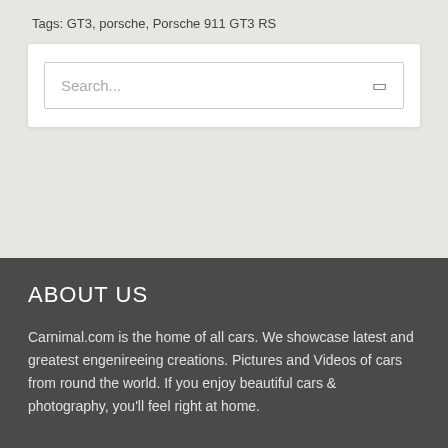Tags: GT3, porsche, Porsche 911 GT3 RS
Search...
ABOUT US
Carnimal.com is the home of all cars. We showcase latest and greatest engenireeing creations. Pictures and Videos of cars from round the world. If you enjoy beautiful cars & photography, you'll feel right at home.